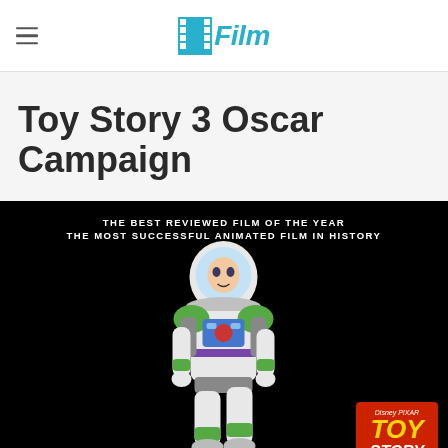/Film
Toy Story 3 Oscar Campaign
[Figure (photo): Promotional image for Toy Story 3 Oscar Campaign on a black background, showing Buzz Lightyear character in full space ranger suit, with text 'THE BEST REVIEWED FILM OF THE YEAR / THE MOST SUCCESSFUL ANIMATED FILM IN HISTORY' at the top, and the Disney Pixar Toy Story 3 logo in the bottom right corner.]